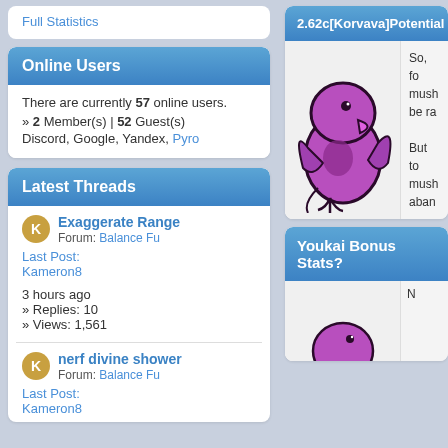Full Statistics
Online Users
There are currently 57 online users.
» 2 Member(s) | 52 Guest(s)
Discord, Google, Yandex, Pyro
Latest Threads
Exaggerate Range
Forum: Balance Fu
Last Post:
Kameron8
3 hours ago
» Replies: 10
» Views: 1,561
nerf divine shower
Forum: Balance Fu
Last Post:
Kameron8
2.62c[Korvava]Potential mushr
[Figure (illustration): Purple bird/creature mascot character with wings, beak, and heart-shaped belly patch, cartoon style]
So, fo
mush
be ra

But to
mush
aban
Youkai Bonus Stats?
[Figure (illustration): Partial view of purple creature mascot, top of head visible]
N